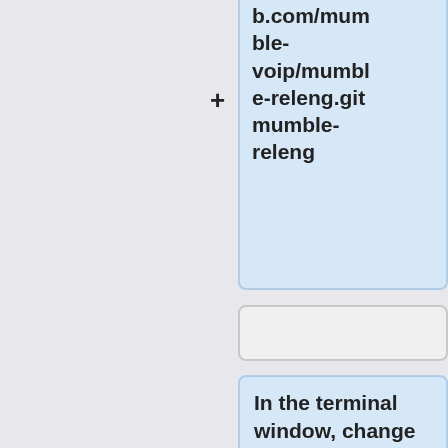[Figure (flowchart): A two-column flowchart/table layout showing steps for a build process. Top-right: blue box with URL path 'b.com/mumble-voip/mumble-releng.git mumble-releng'. Middle: two empty gray boxes side by side. Left column: yellow box with code 'cd \dev'. Right column: blue box with text 'In the terminal window, change to the directory the scripts for Windows (32-bit) and static build reside in.' Bottom: yellow box with 'prep' and blue box with 'cd mumble-'.]